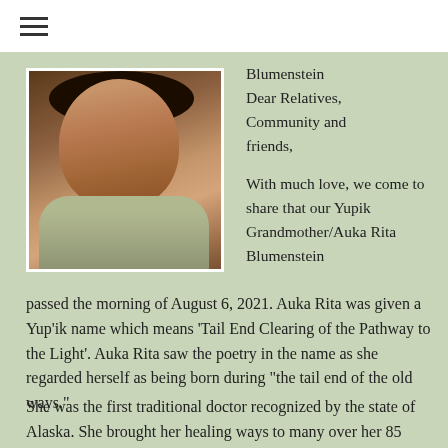[Figure (photo): Portrait photo of an elderly woman of Indigenous Alaskan descent, smiling, wearing a floral/patterned jacket and jewelry, with a warm background.]
Blumenstein
Dear Relatives, Community and friends,

With much love, we come to share that our Yupik Grandmother/Auka Rita Blumenstein
passed the morning of August 6, 2021. Auka Rita was given a Yup'ik name which means 'Tail End Clearing of the Pathway to the Light'. Auka Rita saw the poetry in the name as she regarded herself as being born during "the tail end of the old ways."
She was the first traditional doctor recognized by the state of Alaska. She brought her healing ways to many over her 85